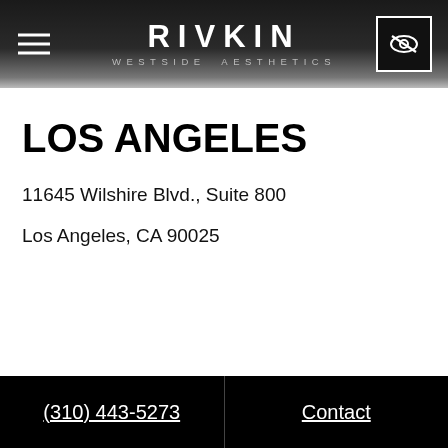RIVKIN WESTSIDE AESTHETICS
LOS ANGELES
11645 Wilshire Blvd., Suite 800
Los Angeles, CA 90025
(310) 443-5273  Contact